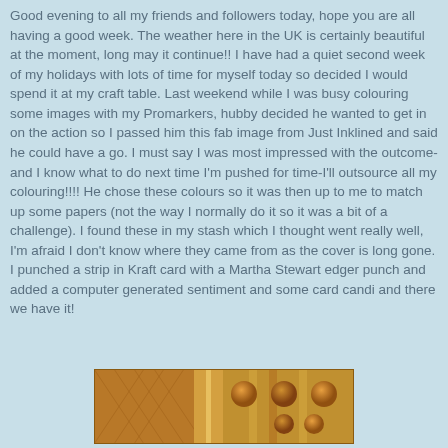Good evening to all my friends and followers today, hope you are all having a good week. The weather here in the UK is certainly beautiful at the moment, long may it continue!! I have had a quiet second week of my holidays with lots of time for myself today so decided I would spend it at my craft table. Last weekend while I was busy colouring some images with my Promarkers, hubby decided he wanted to get in on the action so I passed him this fab image from Just Inklined and said he could have a go. I must say I was most impressed with the outcome-and I know what to do next time I'm pushed for time-I'll outsource all my colouring!!!! He chose these colours so it was then up to me to match up some papers (not the way I normally do it so it was a bit of a challenge). I found these in my stash which I thought went really well, I'm afraid I don't know where they came from as the cover is long gone. I punched a strip in Kraft card with a Martha Stewart edger punch and added a computer generated sentiment and some card candi and there we have it!
[Figure (photo): A craft card image showing decorative papers and card elements in warm brown, orange and gold tones with circular embellishments]